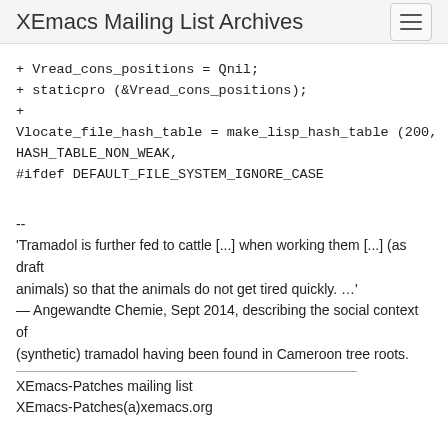XEmacs Mailing List Archives
+ Vread_cons_positions = Qnil;
+ staticpro (&Vread_cons_positions);
+
Vlocate_file_hash_table = make_lisp_hash_table (200, HASH_TABLE_NON_WEAK,
#ifdef DEFAULT_FILE_SYSTEM_IGNORE_CASE
--
'Tramadol is further fed to cattle [...] when working them [...] (as draft
animals) so that the animals do not get tired quickly. …'
— Angewandte Chemie, Sept 2014, describing the social context of (synthetic) tramadol having been found in Cameroon tree roots.
XEmacs-Patches mailing list
XEmacs-Patches(a)xemacs.org